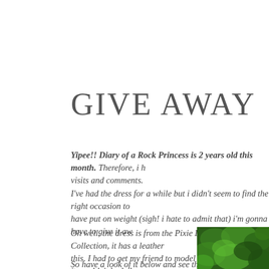GIVE AWAY
Yipee!! Diary of a Rock Princess is 2 years old this month. Therefore, i h visits and comments.
I've had the dress for a while but i didn't seem to find the right occasion to have put on weight (sigh! i hate to admit that) i'm gonna have to give it aw
Oh well, the dress is from the Pixie Lott Lipsy Collection, it has a leather this. I had to get my friend to model the dress for me cos it wouldn't look th
So have a look of it below and see the criteria to be the lucky winner;
[Figure (photo): Photo of green foliage/leaves, partially visible in the bottom-right corner of the page]